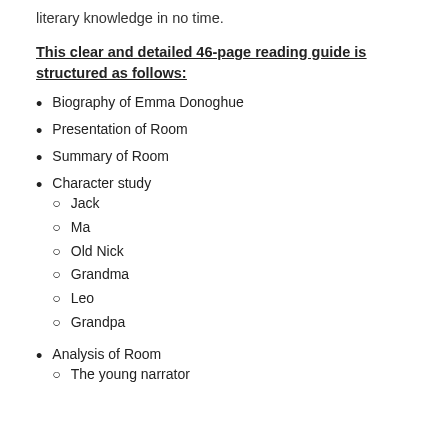literary knowledge in no time.
This clear and detailed 46-page reading guide is structured as follows:
Biography of Emma Donoghue
Presentation of Room
Summary of Room
Character study
Jack
Ma
Old Nick
Grandma
Leo
Grandpa
Analysis of Room
The young narrator